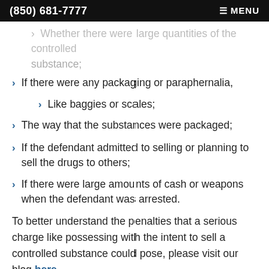(850) 681-7777   ≡ MENU
Whether there were large quantities of the controlled substance;
If there were any packaging or paraphernalia,
Like baggies or scales;
The way that the substances were packaged;
If the defendant admitted to selling or planning to sell the drugs to others;
If there were large amounts of cash or weapons when the defendant was arrested.
To better understand the penalties that a serious charge like possessing with the intent to sell a controlled substance could pose, please visit our blog here.